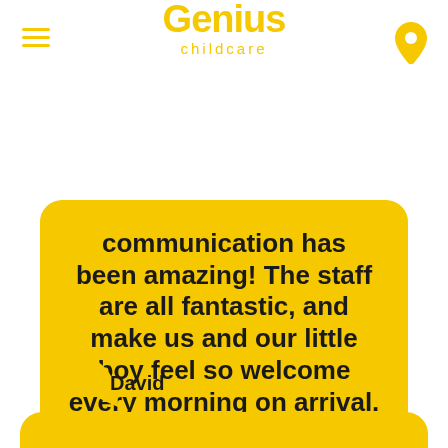Genius childcare
communication has been amazing! The staff are all fantastic, and make us and our little boy feel so welcome every morning on arrival.
David 1 year ago